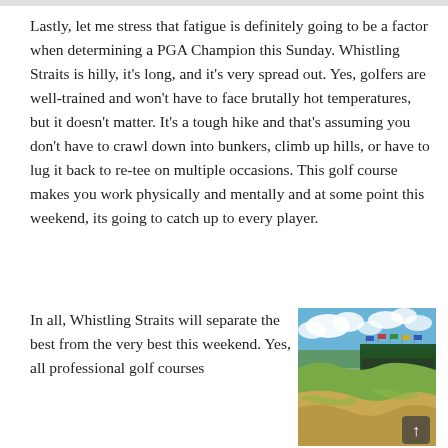Lastly, let me stress that fatigue is definitely going to be a factor when determining a PGA Champion this Sunday. Whistling Straits is hilly, it's long, and it's very spread out. Yes, golfers are well-trained and won't have to face brutally hot temperatures, but it doesn't matter. It's a tough hike and that's assuming you don't have to crawl down into bunkers, climb up hills, or have to lug it back to re-tee on multiple occasions. This golf course makes you work physically and mentally and at some point this weekend, its going to catch up to every player.
In all, Whistling Straits will separate the best from the very best this weekend. Yes, all professional golf courses
[Figure (photo): Aerial/ground-level photo of Whistling Straits golf course showing sandy bunkers, hilly fairways, a grandstand with flags, and a blue sky with clouds. The PGA logo is visible on the grandstand.]